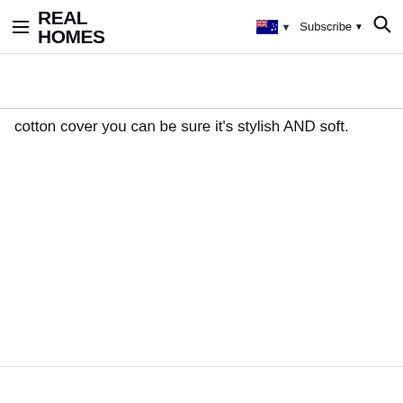REAL HOMES — Subscribe — [Australian flag] — [Search]
cotton cover you can be sure it's stylish AND soft.